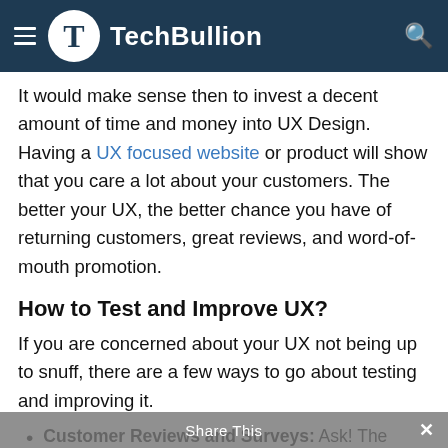TechBullion
It would make sense then to invest a decent amount of time and money into UX Design. Having a UX focused website or product will show that you care a lot about your customers. The better your UX, the better chance you have of returning customers, great reviews, and word-of-mouth promotion.
How to Test and Improve UX?
If you are concerned about your UX not being up to snuff, there are a few ways to go about testing and improving it.
Customer Reviews and Surveys: Ask! The people who will know your site's navigation as well as you. Provide them with the chance to give you a review or answer a couple of quick questions upon the use of your product. Take those reviews and use them to better your site.
User Flow Diagram: Make a flow chart of how you expect people will use your site and compare it to how they actually do. If the two don't match up, you